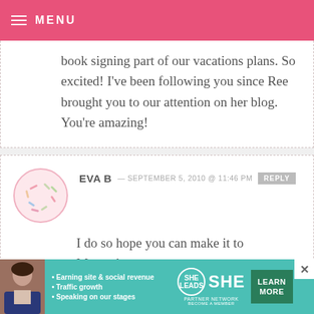MENU
book signing part of our vacations plans. So excited! I've been following you since Ree brought you to our attention on her blog. You're amazing!
EVA B — SEPTEMBER 5, 2010 @ 11:46 PM  REPLY

I do so hope you can make it to Massachusetts...

The Natick Collection

1245 Worcester Street
[Figure (infographic): SHE Partner Network advertisement banner with photo of woman, bullet points about earning site & social revenue, traffic growth, speaking on our stages, SHE logo, and Learn More button]